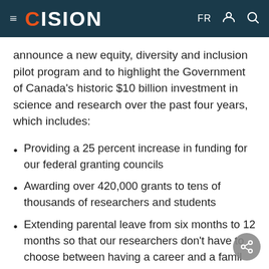CISION — FR
announce a new equity, diversity and inclusion pilot program and to highlight the Government of Canada's historic $10 billion investment in science and research over the past four years, which includes:
Providing a 25 percent increase in funding for our federal granting councils
Awarding over 420,000 grants to tens of thousands of researchers and students
Extending parental leave from six months to 12 months so that our researchers don't have to choose between having a career and a family
Creating 500 new master's level scholarships